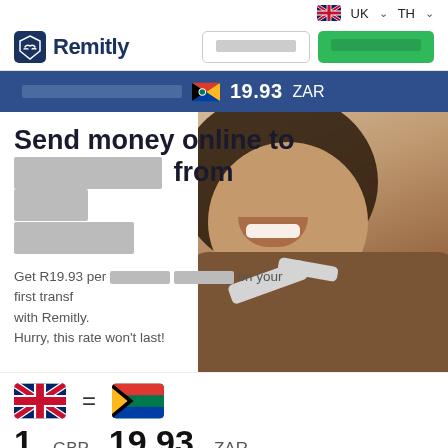UK  TH
[Figure (screenshot): Remitly logo with shield handshake icon]
navbar buttons (login and signup, redacted)
1 GBP = 19.93 ZAR rate bar with Thai language text
Send money online to [redacted] from [redacted] [redacted]
Get R19.93 per [redacted] on your first transfer with Remitly. Hurry, this rate won't last!
[Figure (other): UK flag and South Africa flag with equals sign showing 1 GBP = 19.93 ZAR exchange rate]
1 GBP = 19.93 ZAR